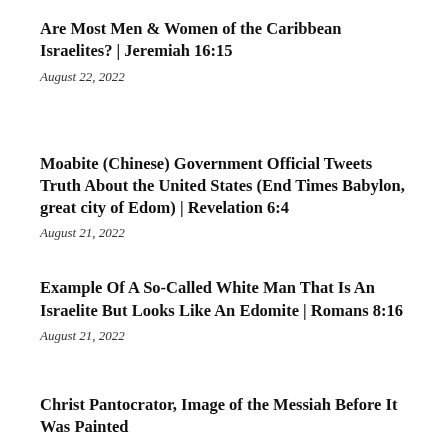Are Most Men & Women of the Caribbean Israelites? | Jeremiah 16:15
August 22, 2022
Moabite (Chinese) Government Official Tweets Truth About the United States (End Times Babylon, great city of Edom) | Revelation 6:4
August 21, 2022
Example Of A So-Called White Man That Is An Israelite But Looks Like An Edomite | Romans 8:16
August 21, 2022
Christ Pantocrator, Image of the Messiah Before It Was Painted